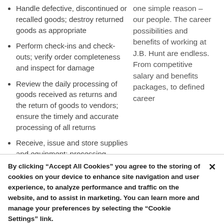Handle defective, discontinued or recalled goods; destroy returned goods as appropriate
Perform check-ins and check-outs; verify order completeness and inspect for damage
Review the daily processing of goods received as returns and the return of goods to vendors; ensure the timely and accurate processing of all returns
Receive, issue and store supplies and equipment; processing customer turn-ins; inspecting, verifying and counting supplies and equipment for accuracy,
one simple reason – our people. The career possibilities and benefits of working at J.B. Hunt are endless. From competitive salary and benefits packages, to defined career
By clicking “Accept All Cookies” you agree to the storing of cookies on your device to enhance site navigation and user experience, to analyze performance and traffic on the website, and to assist in marketing. You can learn more and manage your preferences by selecting the “Cookie Settings” link.